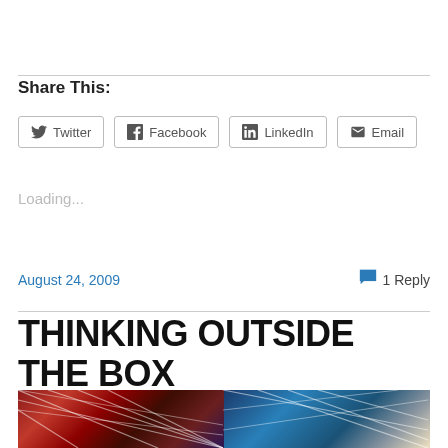Share This:
Twitter | Facebook | LinkedIn | Email
Loading...
August 24, 2009
1 Reply
THINKING OUTSIDE THE BOX
[Figure (photo): Colorful abstract image showing grid/lattice patterns over globe and cube shapes, with red/purple on left and blue/white on right]